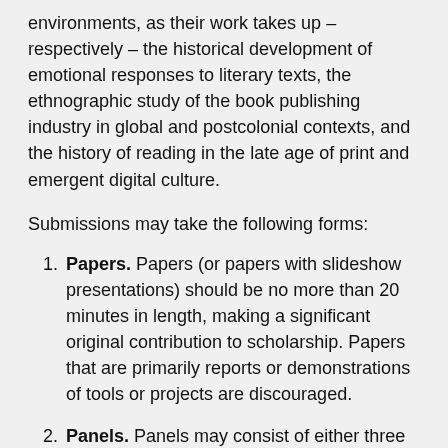environments, as their work takes up – respectively – the historical development of emotional responses to literary texts, the ethnographic study of the book publishing industry in global and postcolonial contexts, and the history of reading in the late age of print and emergent digital culture.
Submissions may take the following forms:
Papers. Papers (or papers with slideshow presentations) should be no more than 20 minutes in length, making a significant original contribution to scholarship. Papers that are primarily reports or demonstrations of tools or projects are discouraged.
Panels. Panels may consist of either three associated papers or four to six roundtable speakers. Roundtables should address topics of broad interest and scope, with the goal of fostering lively debate with audience